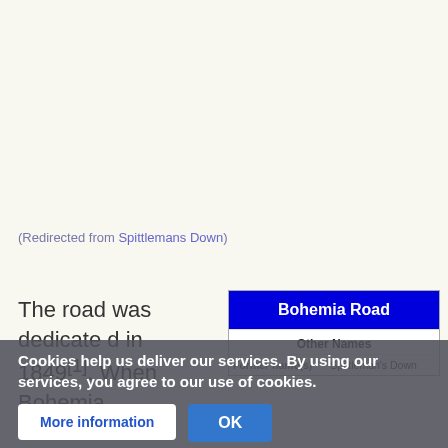(Redirected from Spittlemans Down)
The road was dedicate d in 1849[1]. When Bohemia
| Bohemia Road |
| --- |
| Other Names |
| Former name(s) | Spittleman's Down |
Cookies help us deliver our services. By using our services, you agree to our use of cookies.
More information
OK